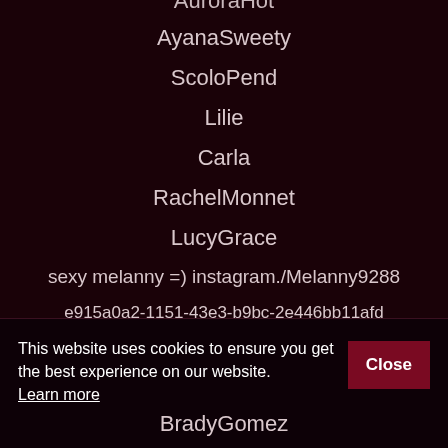AuroraHot
AyanaSweety
ScoloPend
Lilie
Carla
RachelMonnet
LucyGrace
sexy melanny =) instagram./Melanny9288
e915a0a2-1151-43e3-b9bc-2e446bb11afd
Xenia Zolotov
JuliaLoren
This website uses cookies to ensure you get the best experience on our website. Learn more
BradyGomez